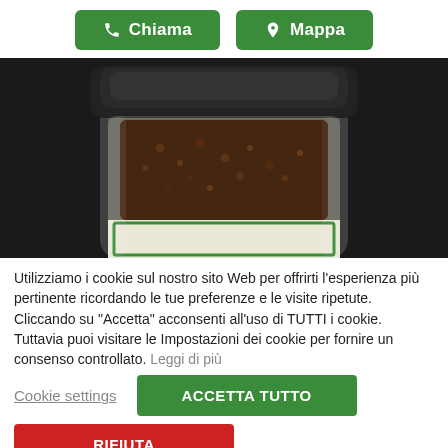[Figure (screenshot): Two green buttons labeled 'Chiama' (phone icon) and 'Mappa' (map pin icon)]
[Figure (photo): Close-up photo of a glass jar with dark contents (likely coffee or spice) with a white label showing a green border, on a dark background]
Utilizziamo i cookie sul nostro sito Web per offrirti l'esperienza più pertinente ricordando le tue preferenze e le visite ripetute. Cliccando su "Accetta" acconsenti all'uso di TUTTI i cookie. Tuttavia puoi visitare le Impostazioni dei cookie per fornire un consenso controllato. Leggi di più
Cookie settings
ACCETTA TUTTO
RIFIUTA